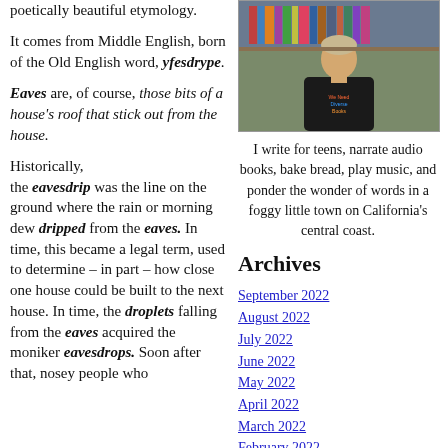poetically beautiful etymology.
It comes from Middle English, born of the Old English word, yfesdrype.
Eaves are, of course, those bits of a house's roof that stick out from the house.
Historically, the eavesdrip was the line on the ground where the rain or morning dew dripped from the eaves. In time, this became a legal term, used to determine – in part – how close one house could be built to the next house. In time, the droplets falling from the eaves acquired the moniker eavesdrops. Soon after that, nosey people who
[Figure (photo): Man standing in front of bookshelves wearing a black sweatshirt that reads 'We Need Diverse Books']
I write for teens, narrate audio books, bake bread, play music, and ponder the wonder of words in a foggy little town on California's central coast.
Archives
September 2022
August 2022
July 2022
June 2022
May 2022
April 2022
March 2022
February 2022